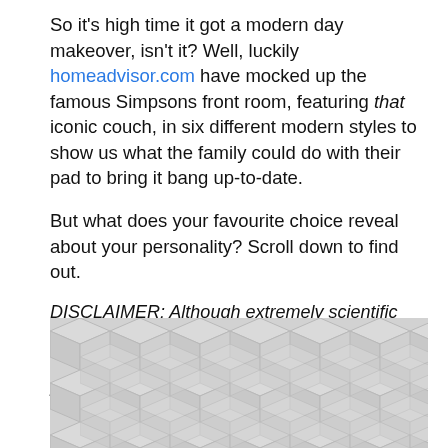So it's high time it got a modern day makeover, isn't it? Well, luckily homeadvisor.com have mocked up the famous Simpsons front room, featuring that iconic couch, in six different modern styles to show us what the family could do with their pad to bring it bang up-to-date.
But what does your favourite choice reveal about your personality? Scroll down to find out.
DISCLAIMER: Although extremely scientific and accurate, please do not base any huge decisions on what this tells you about your personality.
[Figure (illustration): A geometric repeating cube/hexagon pattern in light grey tones, resembling isometric cubes arranged in a grid.]